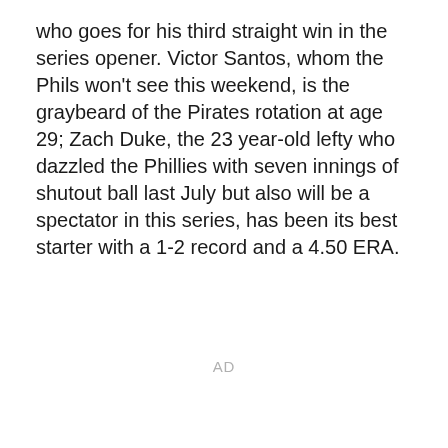who goes for his third straight win in the series opener. Victor Santos, whom the Phils won't see this weekend, is the graybeard of the Pirates rotation at age 29; Zach Duke, the 23 year-old lefty who dazzled the Phillies with seven innings of shutout ball last July but also will be a spectator in this series, has been its best starter with a 1-2 record and a 4.50 ERA.
AD